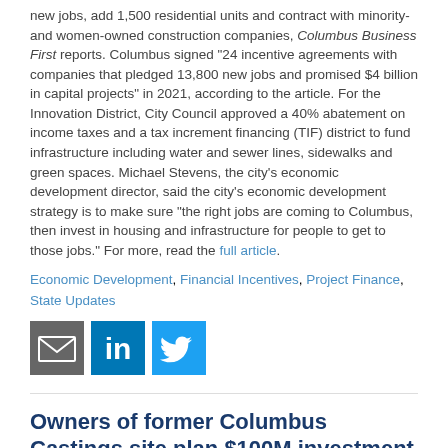new jobs, add 1,500 residential units and contract with minority- and women-owned construction companies, Columbus Business First reports. Columbus signed "24 incentive agreements with companies that pledged 13,800 new jobs and promised $4 billion in capital projects" in 2021, according to the article. For the Innovation District, City Council approved a 40% abatement on income taxes and a tax increment financing (TIF) district to fund infrastructure including water and sewer lines, sidewalks and green spaces. Michael Stevens, the city's economic development director, said the city's economic development strategy is to make sure "the right jobs are coming to Columbus, then invest in housing and infrastructure for people to get to those jobs." For more, read the full article.
Economic Development, Financial Incentives, Project Finance, State Updates
[Figure (infographic): Three social share icons: email (grey envelope), LinkedIn (blue), Twitter (blue bird)]
Owners of former Columbus Castings site plan $100M investment in three new buildings